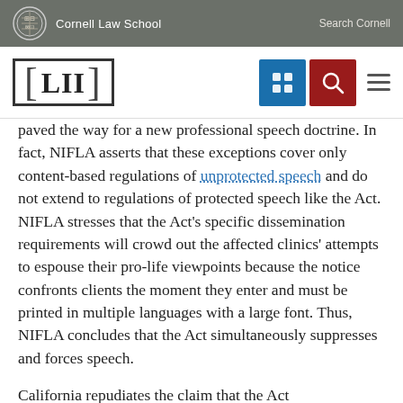Cornell Law School | Search Cornell
[Figure (logo): LII (Legal Information Institute) logo with navigation icons including a grid icon (blue) and search icon (red), plus hamburger menu]
paved the way for a new professional speech doctrine. In fact, NIFLA asserts that these exceptions cover only content-based regulations of unprotected speech and do not extend to regulations of protected speech like the Act. NIFLA stresses that the Act's specific dissemination requirements will crowd out the affected clinics' attempts to espouse their pro-life viewpoints because the notice confronts clients the moment they enter and must be printed in multiple languages with a large font. Thus, NIFLA concludes that the Act simultaneously suppresses and forces speech.
California repudiates the claim that the Act unconstitutionally suppresses speech, observing that pro-life clinics remain free to promote their views on